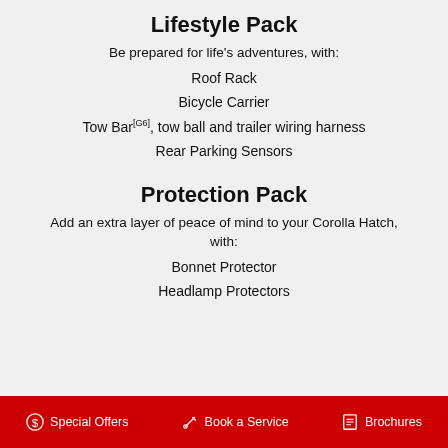Lifestyle Pack
Be prepared for life’s adventures, with:
Roof Rack
Bicycle Carrier
Tow Bar[G6], tow ball and trailer wiring harness
Rear Parking Sensors
Protection Pack
Add an extra layer of peace of mind to your Corolla Hatch, with:
Bonnet Protector
Headlamp Protectors
Special Offers   Book a Service   Brochures